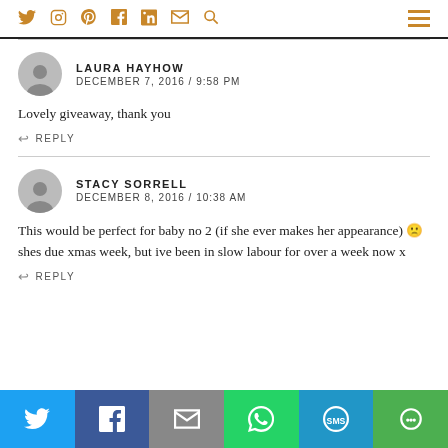Social media icons: Twitter, Instagram, Pinterest, Facebook, LinkedIn, Email, Search | Hamburger menu
LAURA HAYHOW
DECEMBER 7, 2016 / 9:58 PM
Lovely giveaway, thank you
REPLY
STACY SORRELL
DECEMBER 8, 2016 / 10:38 AM
This would be perfect for baby no 2 (if she ever makes her appearance) 🙁 shes due xmas week, but ive been in slow labour for over a week now x
REPLY
Share buttons: Twitter, Facebook, Email, WhatsApp, SMS, More